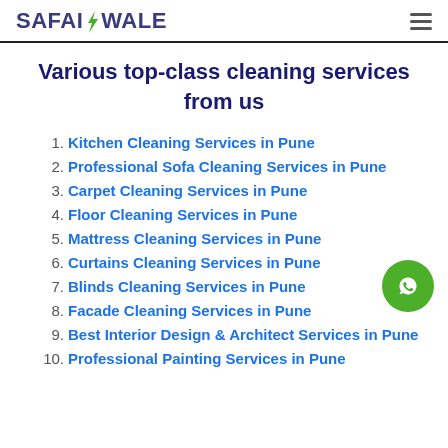SAFAIWALE
Various top-class cleaning services from us
Kitchen Cleaning Services in Pune
Professional Sofa Cleaning Services in Pune
Carpet Cleaning Services in Pune
Floor Cleaning Services in Pune
Mattress Cleaning Services in Pune
Curtains Cleaning Services in Pune
Blinds Cleaning Services in Pune
Facade Cleaning Services in Pune
Best Interior Design & Architect Services in Pune
Professional Painting Services in Pune